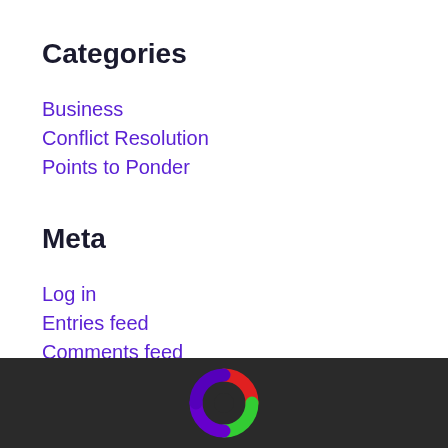Categories
Business
Conflict Resolution
Points to Ponder
Meta
Log in
Entries feed
Comments feed
WordPress.org
[Figure (logo): Circular logo with red, green, purple segments on dark footer background]